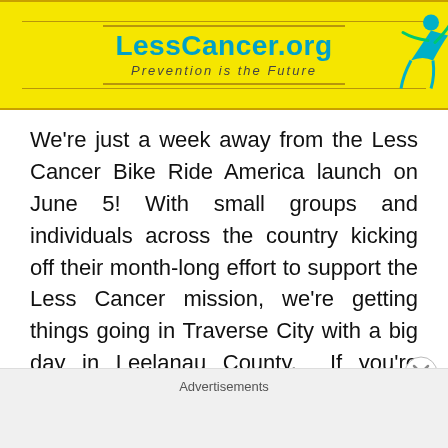[Figure (logo): LessCancer.org banner with yellow background, teal logo text reading 'LessCancer.org', italic subtitle 'Prevention is the Future', decorative horizontal lines, and a teal/green figure icon on the right]
We're just a week away from the Less Cancer Bike Ride America launch on June 5! With small groups and individuals across the country kicking off their month-long effort to support the Less Cancer mission, we're getting things going in Traverse City with a big day in Leelanau County.  If you're looking to host your [...]
Advertisements